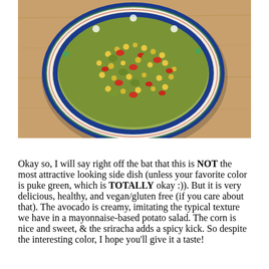[Figure (photo): Top-down view of a salad/side dish in a decorative blue and white bowl with floral pattern, containing a green avocado-based mixture with corn and red peppers, placed on a wooden surface.]
Okay so, I will say right off the bat that this is NOT the most attractive looking side dish (unless your favorite color is puke green, which is TOTALLY okay :)). But it is very delicious, healthy, and vegan/gluten free (if you care about that). The avocado is creamy, imitating the typical texture we have in a mayonnaise-based potato salad. The corn is nice and sweet, & the sriracha adds a spicy kick. So despite the interesting color, I hope you'll give it a taste!